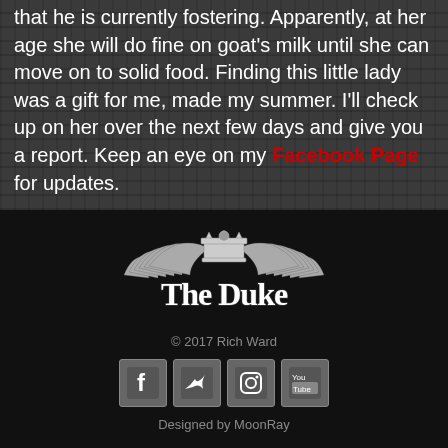that he is currently fostering. Apparently, at her age she will do fine on goat's milk until she can move on to solid food. Finding this little lady was a gift for me, made my summer. I'll check up on her over the next few days and give you a report. Keep an eye on my Facebook Page for updates.
[Figure (logo): The Duke logo with winged crown and stylized text]
© 2017 Rich Ward
[Figure (infographic): Social media icons: Facebook, Twitter, Instagram, YouTube]
Designed by MoonRay